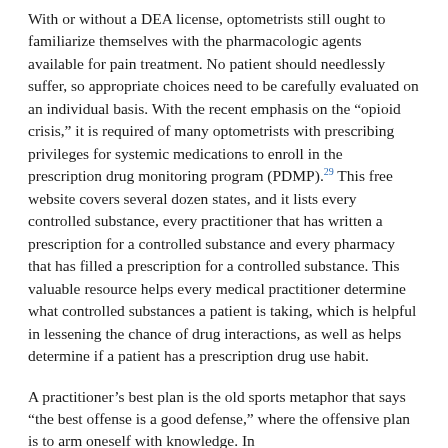With or without a DEA license, optometrists still ought to familiarize themselves with the pharmacologic agents available for pain treatment. No patient should needlessly suffer, so appropriate choices need to be carefully evaluated on an individual basis. With the recent emphasis on the “opioid crisis,” it is required of many optometrists with prescribing privileges for systemic medications to enroll in the prescription drug monitoring program (PDMP).29 This free website covers several dozen states, and it lists every controlled substance, every practitioner that has written a prescription for a controlled substance and every pharmacy that has filled a prescription for a controlled substance. This valuable resource helps every medical practitioner determine what controlled substances a patient is taking, which is helpful in lessening the chance of drug interactions, as well as helps determine if a patient has a prescription drug use habit.
A practitioner’s best plan is the old sports metaphor that says “the best offense is a good defense,” where the offensive plan is to arm oneself with knowledge. In